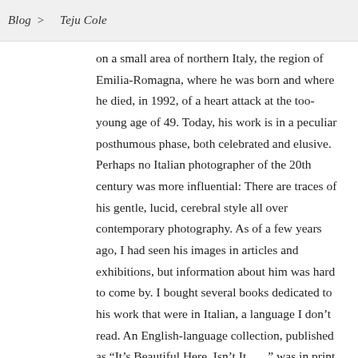Blog > Teju Cole
on a small area of northern Italy, the region of Emilia-Romagna, where he was born and where he died, in 1992, of a heart attack at the too-young age of 49. Today, his work is in a peculiar posthumous phase, both celebrated and elusive. Perhaps no Italian photographer of the 20th century was more influential: There are traces of his gentle, lucid, cerebral style all over contemporary photography. As of a few years ago, I had seen his images in articles and exhibitions, but information about him was hard to come by. I bought several books dedicated to his work that were in Italian, a language I don't read. An English-language collection, published as “It’s Beautiful Here, Isn’t It … ,” was in print but scarce.